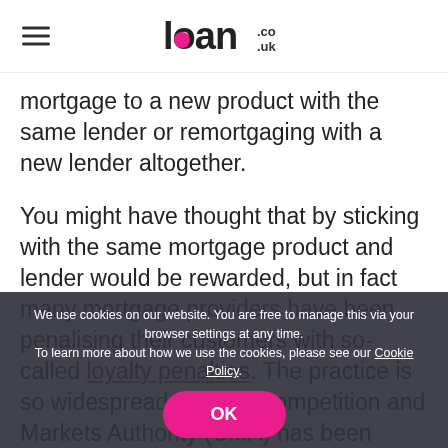loan.co.uk
mortgage to a new product with the same lender or remortgaging with a new lender altogether.
You might have thought that by sticking with the same mortgage product and lender would be rewarded, but in fact many mortgage providers have been penalising their customers with so-called loyalty penalties. The practice is so widespread that the Competition and Markets Authority (CMA) has been looking at the issue and has made recommendations to both the government and the Financial Services Authority (FSA).
We take a quick look at the pros and cons of staying with your current lender or moving to a
We use cookies on our website. You are free to manage this via your browser settings at any time. To learn more about how we use the cookies, please see our Cookie Policy.